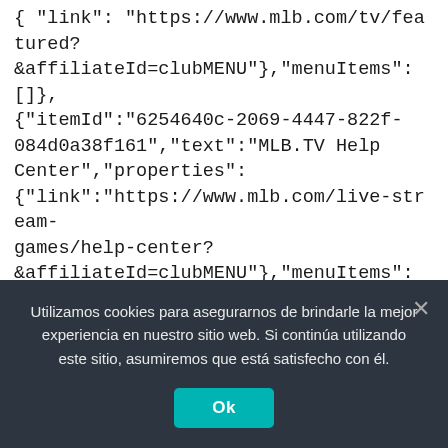{ "link": "https://www.mlb.com/tv/featured?&affiliateId=clubMENU"},"menuItems":[]},{"itemId":"6254640c-2069-4447-822f-084d0a38f161","text":"MLB.TV Help Center","properties":{"link":"https://www.mlb.com/live-stream-games/help-center?&affiliateId=clubMENU"},"menuItems":[]}]},{"itemId":"d54d0be0-f610-4f8b-90ac-c246c361e2e2","text":"Fantasy","properties":{"link":"https://www.mlb.com/fantasy","customProperties":"","visible":"true"},"menuIte
Utilizamos cookies para asegurarnos de brindarle la mejor experiencia en nuestro sitio web. Si continúa utilizando este sitio, asumiremos que está satisfecho con él.